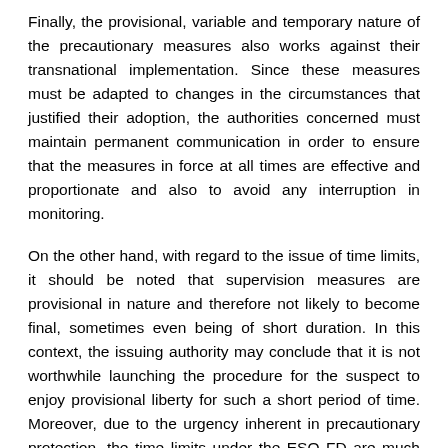Finally, the provisional, variable and temporary nature of the precautionary measures also works against their transnational implementation. Since these measures must be adapted to changes in the circumstances that justified their adoption, the authorities concerned must maintain permanent communication in order to ensure that the measures in force at all times are effective and proportionate and also to avoid any interruption in monitoring.
On the other hand, with regard to the issue of time limits, it should be noted that supervision measures are provisional in nature and therefore not likely to become final, sometimes even being of short duration. In this context, the issuing authority may conclude that it is not worthwhile launching the procedure for the suspect to enjoy provisional liberty for such a short period of time. Moreover, due to the urgency inherent in precautionary protection, the time limits under the ESO FD are much shorter than in other instruments: twenty working days to make the decision whether or not to recognise the decision on the supervisory measures.
In addition, according to the provisions of the ESO FD, the issuing